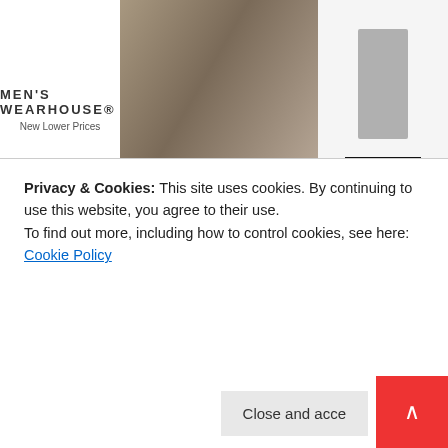[Figure (photo): Advertisement banner for Men's Wearhouse featuring a couple in formal wear and a man in a grey suit, with a VIEW button]
ssful, horror movies now have a confused sister . . . tmas. Now target audiences around the world will be lated with horror movies from October to December. All is missing will be zombie turkeys that kill families around Thanksgiving table.
ing is sacred anymore even the false notion Yeshua was on December 25th. Hollywood is actually keeping it real it comes to Santa Claus because cross cultures there
Privacy & Cookies: This site uses cookies. By continuing to use this website, you agree to their use.
To find out more, including how to control cookies, see here:
Cookie Policy